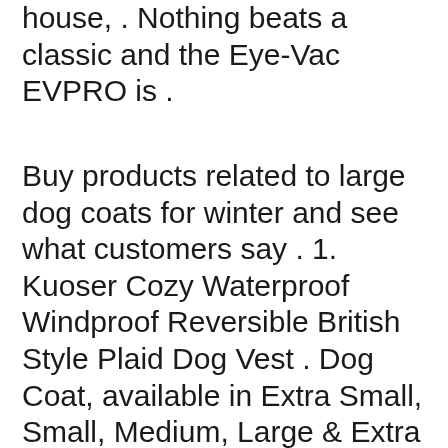house, . Nothing beats a classic and the Eye-Vac EVPRO is .
Buy products related to large dog coats for winter and see what customers say . 1. Kuoser Cozy Waterproof Windproof Reversible British Style Plaid Dog Vest . Dog Coat, available in Extra Small, Small, Medium, Large & Extra Large sizes. Queenmore Cold Weather Dog Coats Loft Reversible Winter Fleece Dog Vest Waterproof Pet Jacket Available in Extra Small, Small, Medium, Large Extra Large Sizes. XS. S. M. L. XL. 2XL. 3XL. 4XL. JoyDaog Fleece Lined Warm Dog Jacket for Winter Outdoor Waterproof Reflective . Strips for Medium Large Dogs, Warm and Cozy Dog Sport Vest, Dog Winter Coat, . He's a boxer/beagle mix and he's around 45 pounds, I got him a size XL. 12 feb. 2018 – Best Dog